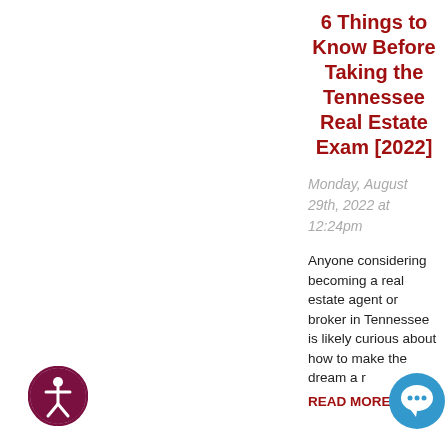6 Things to Know Before Taking the Tennessee Real Estate Exam [2022]
Monday, August 29th, 2022 at 12:24pm
Anyone considering becoming a real estate agent or broker in Tennessee is likely curious about how to make the dream a reality.
READ MORE